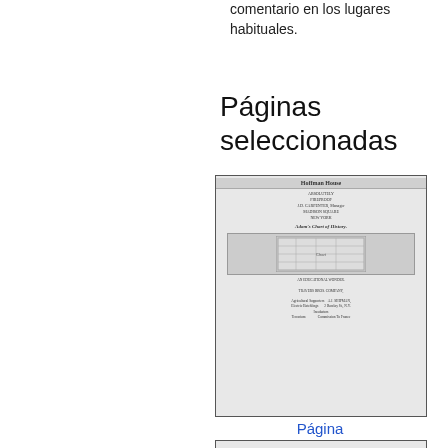comentario en los lugares habituales.
Páginas seleccionadas
[Figure (illustration): Scanned historical document page showing an advertisement for Hoffman House and Adam's Chart of History, with Travers Bros. Company details and other text.]
Página
[Figure (illustration): Scanned historical document page showing a title page with small text including numbers and partial title at bottom.]